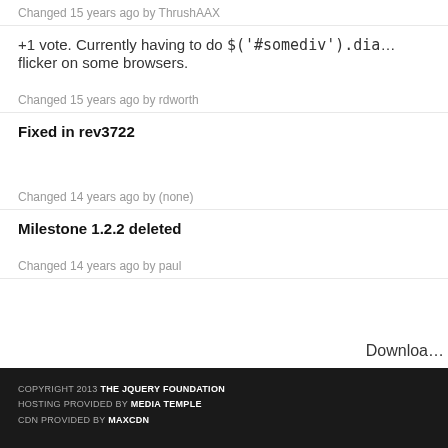Changed 15 years ago by ThrushAAX
+1 vote. Currently having to do $('#somediv').dia… flicker on some browsers.
Changed 15 years ago by rdworth
Fixed in rev3722
Changed 14 years ago by (none)
Milestone 1.2.2 deleted
Changed 14 years ago by paul
Download…
RSS Feed | Comm…
COPYRIGHT 2013 THE JQUERY FOUNDATION
HOSTING PROVIDED BY MEDIA TEMPLE
CDN PROVIDED BY MAXCDN